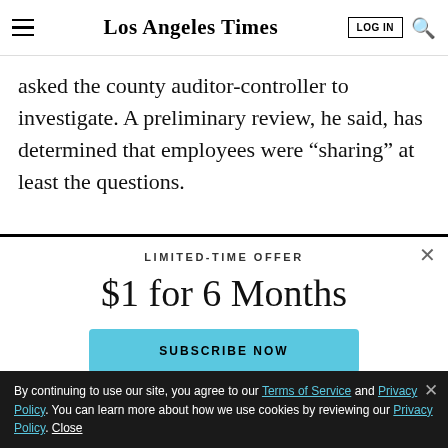Los Angeles Times
asked the county auditor-controller to investigate. A preliminary review, he said, has determined that employees were “sharing” at least the questions.
LIMITED-TIME OFFER
$1 for 6 Months
SUBSCRIBE NOW
By continuing to use our site, you agree to our Terms of Service and Privacy Policy. You can learn more about how we use cookies by reviewing our Privacy Policy. Close